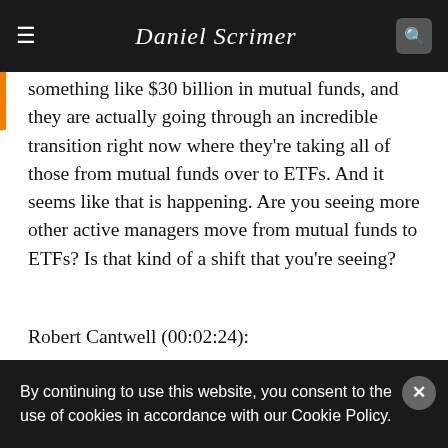Daniel Scrimer
something like $30 billion in mutual funds, and they are actually going through an incredible transition right now where they're taking all of those from mutual funds over to ETFs. And it seems like that is happening. Are you seeing more other active managers move from mutual funds to ETFs? Is that kind of a shift that you're seeing?
Robert Cantwell (00:02:24):
I think it's going to happen in a few different ways. The mutual funds converting to ETFs is a no-brainer. , of taking d converting t on a lot of just playing
By continuing to use this website, you consent to the use of cookies in accordance with our Cookie Policy.